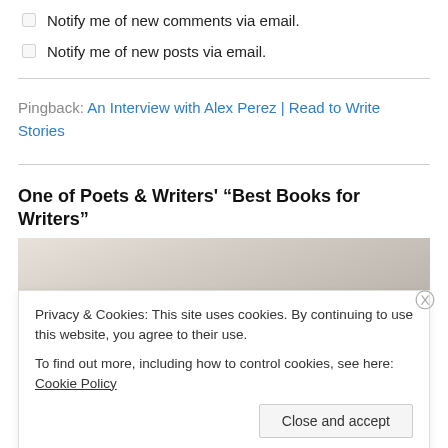Notify me of new comments via email.
Notify me of new posts via email.
Pingback: An Interview with Alex Perez | Read to Write Stories
One of Poets & Writers' “Best Books for Writers”
[Figure (photo): Top portion of a book cover image, light sandy/linen textured background]
Privacy & Cookies: This site uses cookies. By continuing to use this website, you agree to their use.
To find out more, including how to control cookies, see here: Cookie Policy